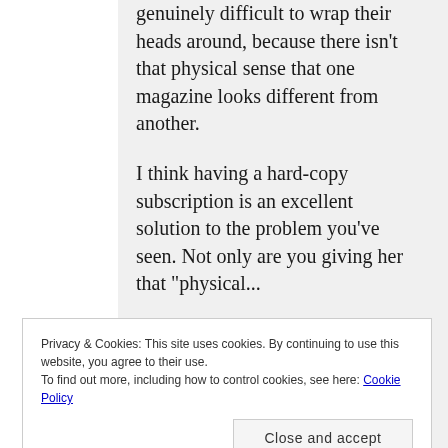genuinely difficult to wrap their heads around, because there isn't that physical sense that one magazine looks different from another.
I think having a hard-copy subscription is an excellent solution to the problem you've seen. Not only are you giving her that "physical...
Privacy & Cookies: This site uses cookies. By continuing to use this website, you agree to their use. To find out more, including how to control cookies, see here: Cookie Policy
investment in